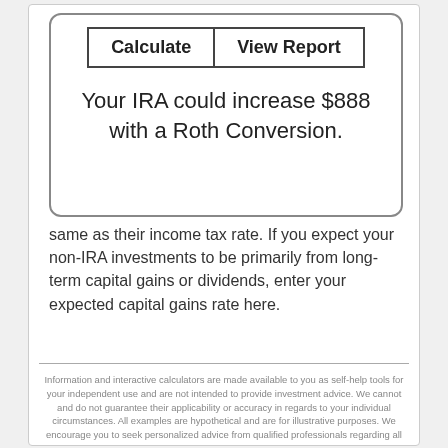[Figure (screenshot): Interactive calculator widget with 'Calculate' and 'View Report' buttons, and result text: 'Your IRA could increase $888 with a Roth Conversion.']
same as their income tax rate. If you expect your non-IRA investments to be primarily from long-term capital gains or dividends, enter your expected capital gains rate here.
Information and interactive calculators are made available to you as self-help tools for your independent use and are not intended to provide investment advice. We cannot and do not guarantee their applicability or accuracy in regards to your individual circumstances. All examples are hypothetical and are for illustrative purposes. We encourage you to seek personalized advice from qualified professionals regarding all personal finance issues.